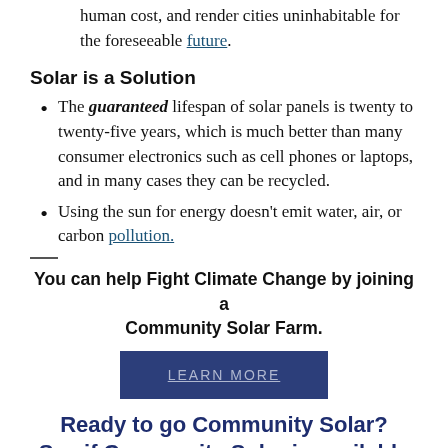human cost, and render cities uninhabitable for the foreseeable future.
Solar is a Solution
The guaranteed lifespan of solar panels is twenty to twenty-five years, which is much better than many consumer electronics such as cell phones or laptops, and in many cases they can be recycled.
Using the sun for energy doesn't emit water, air, or carbon pollution.
You can help Fight Climate Change by joining a Community Solar Farm.
LEARN MORE
Ready to go Community Solar? See if Community Solar is available in